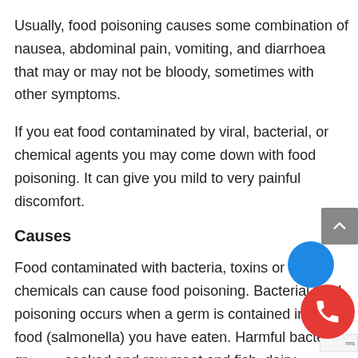Usually, food poisoning causes some combination of nausea, abdominal pain, vomiting, and diarrhoea that may or may not be bloody, sometimes with other symptoms.
If you eat food contaminated by viral, bacterial, or chemical agents you may come down with food poisoning. It can give you mild to very painful discomfort.
Causes
Food contaminated with bacteria, toxins or chemicals can cause food poisoning. Bacterial food poisoning occurs when a germ is contained in the food (salmonella) you have eaten. Harmful bacteria gr... cooked and raw meat and fish, dairy products, and... prepared foods left at room temperature too long.